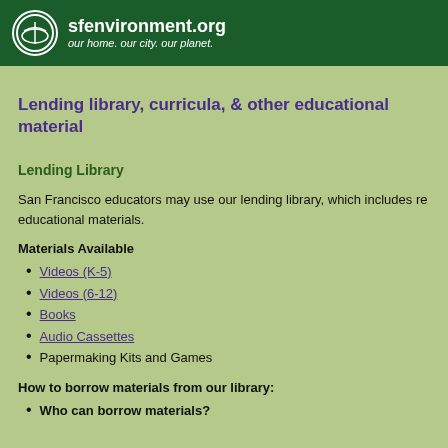sfenvironment.org — our home. our city. our planet.
Lending library, curricula, & other educational materials
Lending Library
San Francisco educators may use our lending library, which includes re… educational materials.
Materials Available
Videos (K-5)
Videos (6-12)
Books
Audio Cassettes
Papermaking Kits and Games
How to borrow materials from our library:
Who can borrow materials?